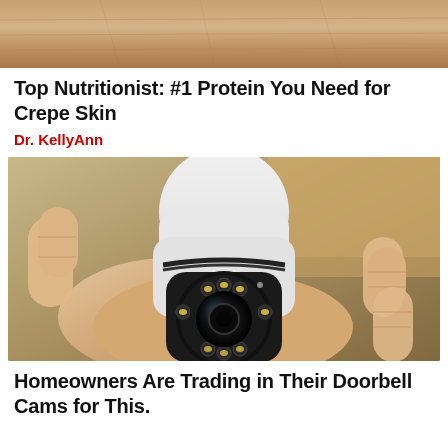[Figure (photo): Close-up photo of elderly skin, cropped at top of page]
Top Nutritionist: #1 Protein You Need for Crepe Skin
Dr. KellyAnn
[Figure (photo): A hand holding a small white security camera (bulb-shaped) with a circular lens and LED lights]
Homeowners Are Trading in Their Doorbell Cams for This.